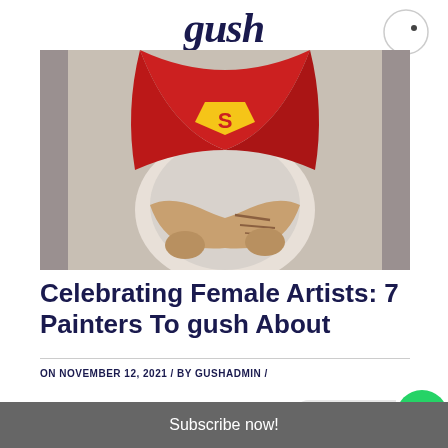gush
[Figure (photo): Street art mural on a wall showing a figure dressed as Superman with arms crossed, red cape and Superman logo visible, rendered in a stylized graffiti style]
Celebrating Female Artists: 7 Painters To gush About
ON NOVEMBER 12, 2021 / BY GUSHADMIN /
Contact us
Subscribe now!